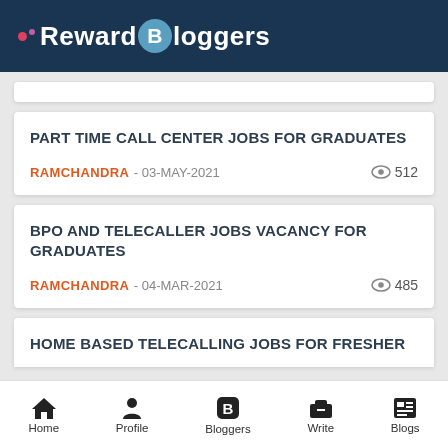Reward Bloggers
PART TIME CALL CENTER JOBS FOR GRADUATES
RAMCHANDRA - 03-MAY-2021  512 views
BPO AND TELECALLER JOBS VACANCY FOR GRADUATES
RAMCHANDRA - 04-MAR-2021  485 views
HOME BASED TELECALLING JOBS FOR FRESHER
Home  Profile  Bloggers  Write  Blogs